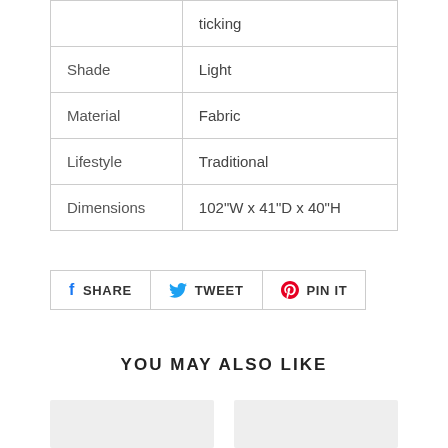|  | ticking |
| Shade | Light |
| Material | Fabric |
| Lifestyle | Traditional |
| Dimensions | 102"W x 41"D x 40"H |
[Figure (other): Social sharing buttons: SHARE (Facebook), TWEET (Twitter), PIN IT (Pinterest)]
YOU MAY ALSO LIKE
[Figure (other): Two product image placeholders side by side]